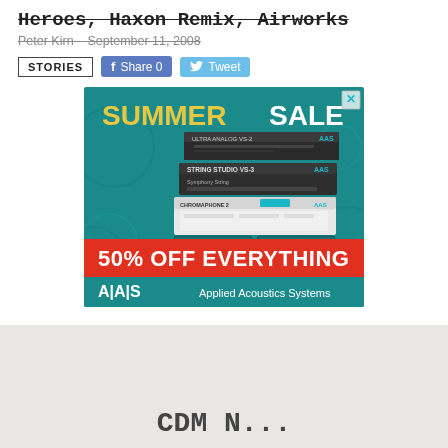Heroes, Haxan Remix, Airworks
Peter Kirn - September 11, 2008
STORIES  Share 0  Tweet
[Figure (photo): Advertisement for Applied Acoustics Systems Summer Sale - 50% OFF EVERYTHING banner with software plugin screenshots on teal background]
CDM N...